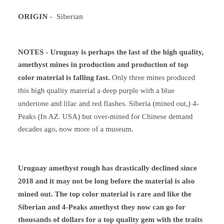ORIGIN - Siberian
NOTES - Uruguay is perhaps the last of the high quality, amethyst mines in production and production of top color material is falling fast. Only three mines produced this high quality material a deep purple with a blue undertone and lilac and red flashes. Siberia (mined out,) 4-Peaks (In AZ. USA) but over-mined for Chinese demand decades ago, now more of a museum.
Uruguay amethyst rough has drastically declined since 2018 and it may not be long before the material is also mined out. The top color material is rare and like the Siberian and 4-Peaks amethyst they now can go for thousands of dollars for a top quality gem with the traits